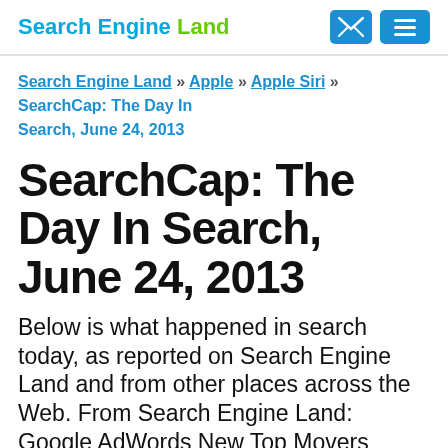Search Engine Land
Search Engine Land » Apple » Apple Siri » SearchCap: The Day In Search, June 24, 2013
SearchCap: The Day In Search, June 24, 2013
Below is what happened in search today, as reported on Search Engine Land and from other places across the Web. From Search Engine Land: Google AdWords New Top Movers Report Aims To Automate